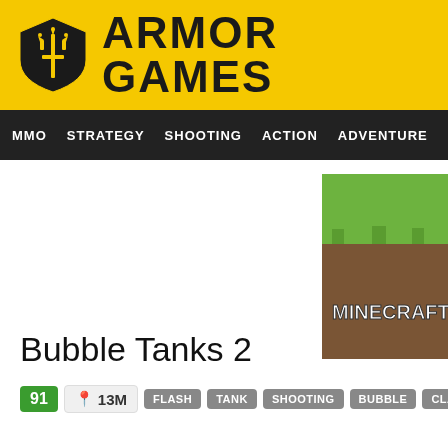[Figure (logo): Armor Games logo: yellow shield with crown and sword icon on left, bold black text ARMOR GAMES on yellow background]
MMO  STRATEGY  SHOOTING  ACTION  ADVENTURE  P
[Figure (screenshot): Row of game thumbnail images: Minecraft, Subway Surfers, Angry Birds, Among Us, and one partially visible]
Bubble Tanks 2
91  13M  FLASH  TANK  SHOOTING  BUBBLE  CLASSIC